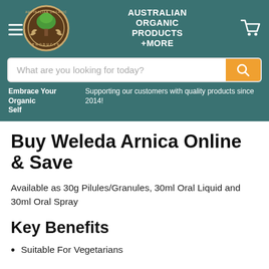AUSTRALIAN ORGANIC PRODUCTS +MORE
Buy Weleda Arnica Online & Save
Available as 30g Pilules/Granules, 30ml Oral Liquid and 30ml Oral Spray
Key Benefits
Suitable For Vegetarians